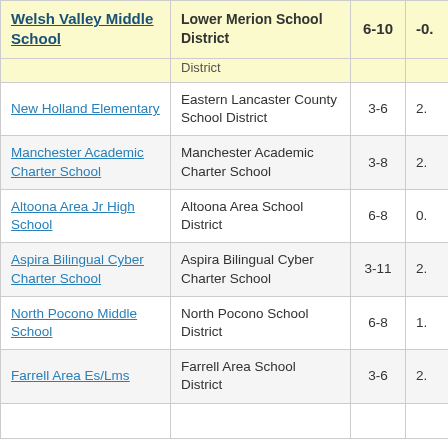| School | District | Grades | Value |
| --- | --- | --- | --- |
| Welsh Valley Middle School | Lower Merion School District | 6-10 | -0. |
|  | District |  |  |
| New Holland Elementary | Eastern Lancaster County School District | 3-6 | 2. |
| Manchester Academic Charter School | Manchester Academic Charter School | 3-8 | 2. |
| Altoona Area Jr High School | Altoona Area School District | 6-8 | 0. |
| Aspira Bilingual Cyber Charter School | Aspira Bilingual Cyber Charter School | 3-11 | 2. |
| North Pocono Middle School | North Pocono School District | 6-8 | 1. |
| Farrell Area Es/Lms | Farrell Area School District | 3-6 | 2. |